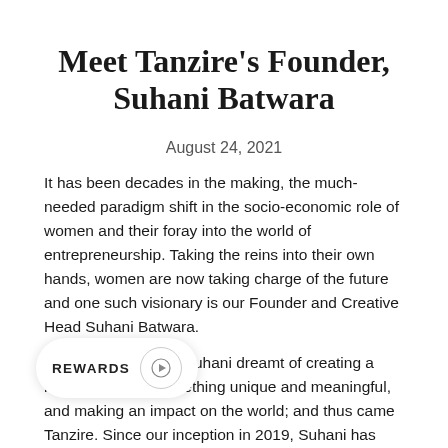Meet Tanzire's Founder, Suhani Batwara
August 24, 2021
It has been decades in the making, the much-needed paradigm shift in the socio-economic role of women and their foray into the world of entrepreneurship. Taking the reins into their own hands, women are now taking charge of the future and one such visionary is our Founder and Creative Head Suhani Batwara.
Merely 22 years old Suhani dreamt of creating a legacy, building something unique and meaningful, and making an impact on the world; and thus came Tanzire. Since our inception in 2019, Suhani has b[een working] behind the scenes to grow Tanzire and [make it a to]top destination for global demi-fine jewelry.
Born in a...